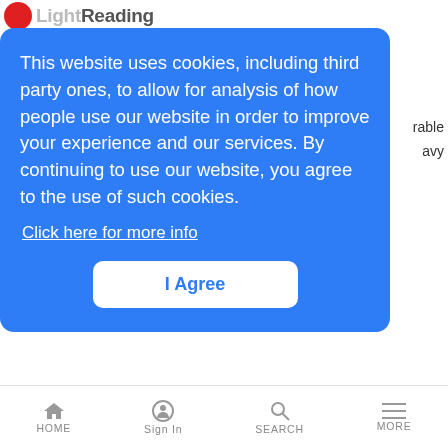LightReading
This website uses cookies, including third party ones, to allow for analysis of how people use our website in order to improve your experience and our services. By continuing to use our website, you agree to the use of such cookies.
Click here for more info
I Agree
News Analysis | 9/14/2005
Quiet-running startup raises $19.8M, works on secure fixed/mobile convergence box for building VPNs
Stoke Gets Stoked With $20M
LR Mobile News Analysis | 9/14/2005
HOME Sign In SEARCH MORE